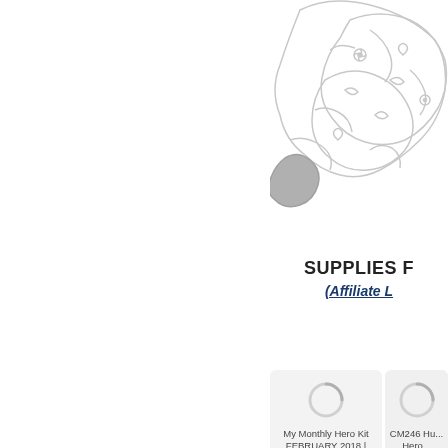[Figure (illustration): Decorative line-art illustration showing a floral/nature pattern with hearts and flowers, partially visible at top right, rendered in light gray outlines with a small gray shaded area]
SUPPLIES F
(Affiliate L
[Figure (photo): Product card with loading spinner icon for 'My Monthly Hero Kit FEBRUARY 2018 | Hero Arts' with 'buy from' button]
[Figure (photo): Partially visible product card with loading spinner icon for 'CM246 Hu... Hero...' with 'buy' text]